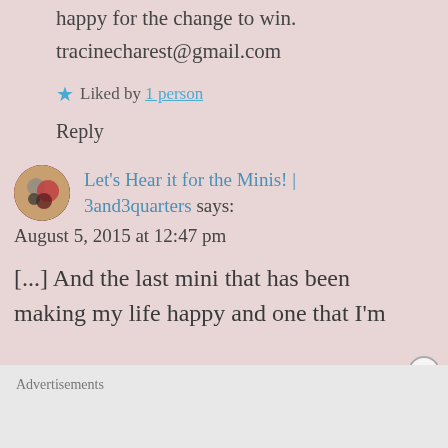happy for the change to win.
tracinecharest@gmail.com
★ Liked by 1 person
Reply
Let's Hear it for the Minis! | 3and3quarters says:
August 5, 2015 at 12:47 pm
[...] And the last mini that has been making my life happy and one that I'm
Advertisements